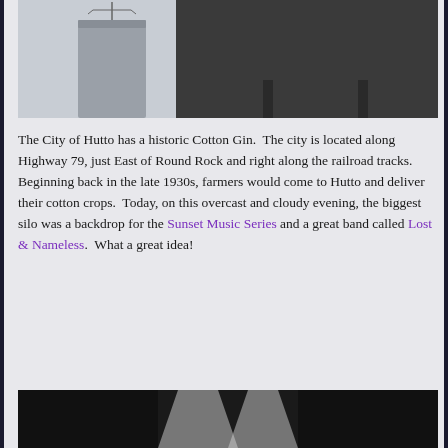[Figure (photo): Partial view of a grain silo structure and a large billboard against an overcast sky]
The City of Hutto has a historic Cotton Gin.  The city is located along Highway 79, just East of Round Rock and right along the railroad tracks.  Beginning back in the late 1930s, farmers would come to Hutto and deliver their cotton crops.  Today, on this overcast and cloudy evening, the biggest silo was a backdrop for the Sunset Music Series and a great band called Lost & Nameless.  What a great idea!
[Figure (photo): Dark silhouette photo taken from below looking up at silo or industrial structure against lighter sky]